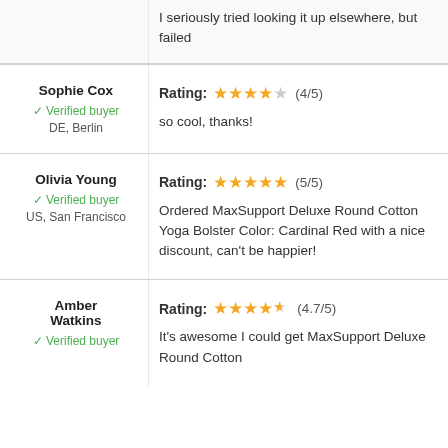I seriously tried looking it up elsewhere, but failed
Sophie Cox
✓ Verified buyer
DE, Berlin
Rating: ★★★★☆ (4/5)
so cool, thanks!
Olivia Young
✓ Verified buyer
US, San Francisco
Rating: ★★★★★ (5/5)
Ordered MaxSupport Deluxe Round Cotton Yoga Bolster Color: Cardinal Red with a nice discount, can't be happier!
Amber Watkins
✓ Verified buyer
Rating: ★★★★½ (4.7/5)
It's awesome I could get MaxSupport Deluxe Round Cotton